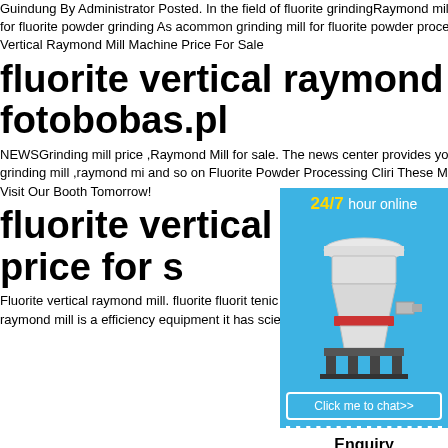Guindung By Administrator Posted. In the field of fluorite grindingRaymond mill will be one of the most popular machines for fluorite powder grinding As acommon grinding mill for fluorite powder processing fluorite Raymond mill is an Fluorite Vertical Raymond Mill Machine Price For Sale
fluorite vertical raymond mill for sale - fotobobas.pl
NEWSGrinding mill price ,Raymond Mill for sale. The news center provides you with the latest news information inquire the latest price of grinding mill ,raymond mill and so on Fluorite Powder Processing Cliri These Models Grinding Mills E6171 Just Re Forget Visit Our Booth Tomorrow!
fluorite vertical raymond mill.machine price for s
Fluorite vertical raymond mill. fluorite fluorite tenic mining machine as a common grinding powder processing fluorite raymond mill is a efficiency equipment it has scientific princin
[Figure (infographic): Blue sidebar overlay with '24/7 hour online' header in yellow and white, image of a cone crusher machine, 'Click me to chat>>' button, 'Enquiry' section and 'limingjlmofen' footer text]